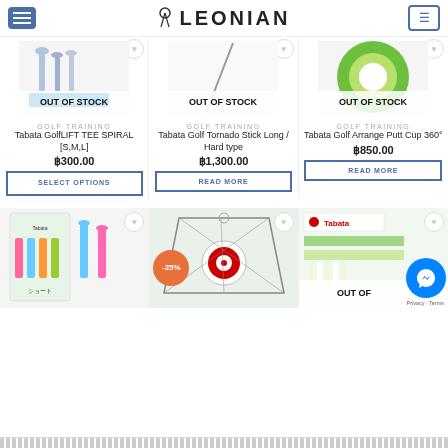Leonian
[Figure (photo): Product image: Tabata GolfLIFT TEE SPIRAL - out of stock]
GOLF TRAINING
Tabata GolfLIFT TEE SPIRAL [S,M,L]
฿300.00
SELECT OPTIONS
[Figure (photo): Product image: Tabata Golf Tornado Stick - out of stock]
GOLF TRAINING
Tabata Golf Tornado Stick Long / Hard type
฿1,300.00
READ MORE
[Figure (photo): Product image: Tabata Golf Arrange Putt Cup 360 - out of stock]
GOLF TRAINING
Tabata Golf Arrange Putt Cup 360°
฿850.00
READ MORE
[Figure (photo): Bottom product 1: Tabata golf tees colorful package]
[Figure (photo): Bottom product 2: Golf net with target - 25% sale]
[Figure (photo): Bottom product 3: Tabata product - out of stock]